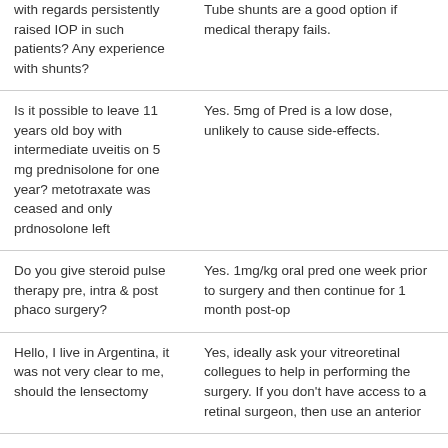| Question | Answer |
| --- | --- |
| What are your views with regards persistently raised IOP in such patients? Any experience with shunts? | Tube shunts are a good option if medical therapy fails. |
| Is it possible to leave 11 years old boy with intermediate uveitis on 5 mg prednisolone for one year? metotraxate was ceased and only prdnosolone left | Yes. 5mg of Pred is a low dose, unlikely to cause side-effects. |
| Do you give steroid pulse therapy pre, intra & post phaco surgery? | Yes. 1mg/kg oral pred one week prior to surgery and then continue for 1 month post-op |
| Hello, I live in Argentina, it was not very clear to me, should the lensectomy | Yes, ideally ask your vitreoretinal collegues to help in performing the surgery. If you don't have access to a retinal surgeon, then use an anterior |